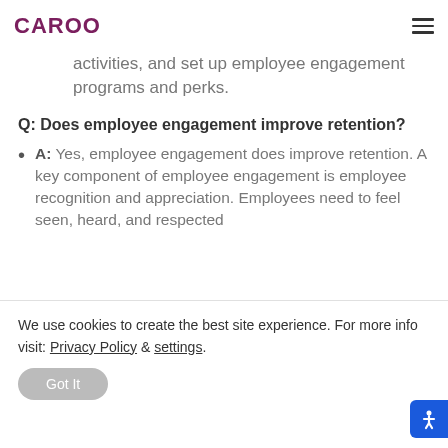CAROO
activities, and set up employee engagement programs and perks.
Q: Does employee engagement improve retention?
A: Yes, employee engagement does improve retention. A key component of employee engagement is employee recognition and appreciation. Employees need to feel seen, heard, and respected
We use cookies to create the best site experience. For more info visit: Privacy Policy & settings.